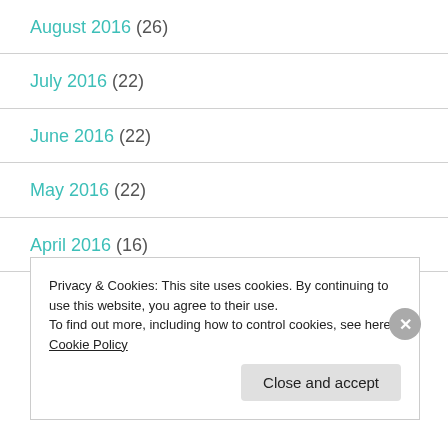August 2016 (26)
July 2016 (22)
June 2016 (22)
May 2016 (22)
April 2016 (16)
March 2016 (23)
Privacy & Cookies: This site uses cookies. By continuing to use this website, you agree to their use.
To find out more, including how to control cookies, see here: Cookie Policy
Close and accept